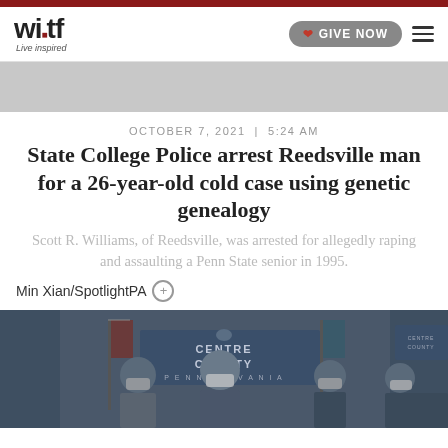witf – Live inspired
OCTOBER 7, 2021  |  5:24 AM
State College Police arrest Reedsville man for a 26-year-old cold case using genetic genealogy
Scott R. Williams, of Reedsville, was arrested for allegedly raping and assaulting a Penn State senior in 1995.
Min Xian/SpotlightPA
[Figure (photo): Press conference with officials in front of Centre County Pennsylvania backdrop, all wearing masks]